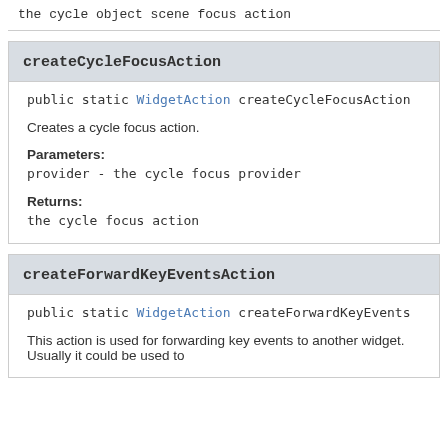the cycle object scene focus action
createCycleFocusAction
public static WidgetAction createCycleFocusAction(
Creates a cycle focus action.
Parameters:
provider - the cycle focus provider
Returns:
the cycle focus action
createForwardKeyEventsAction
public static WidgetAction createForwardKeyEvents
This action is used for forwarding key events to another widget. Usually it could be used to